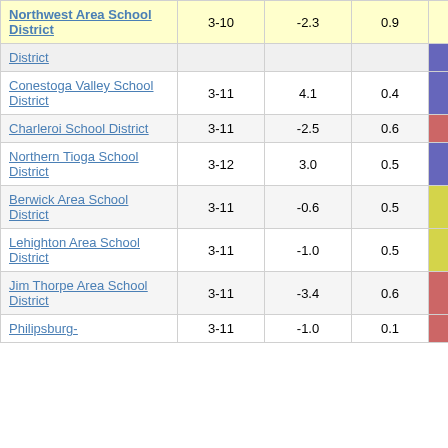| School District | Grades | Col3 | Col4 | Score |
| --- | --- | --- | --- | --- |
| Northwest Area School District | 3-10 | -2.3 | 0.9 | -2.59 |
| District |  |  |  |  |
| Conestoga Valley School District | 3-11 | 4.1 | 0.4 | 10.35 |
| Charleroi School District | 3-11 | -2.5 | 0.6 | -3.90 |
| Northern Tioga School District | 3-12 | 3.0 | 0.5 | 5.57 |
| Berwick Area School District | 3-11 | -0.6 | 0.5 | -1.17 |
| Lehighton Area School District | 3-11 | -1.0 | 0.5 | -1.83 |
| Jim Thorpe Area School District | 3-11 | -3.4 | 0.6 | -5.71 |
| Philipsburg-... | 3-11 | -1.0 | 0.1 | -3.1? |